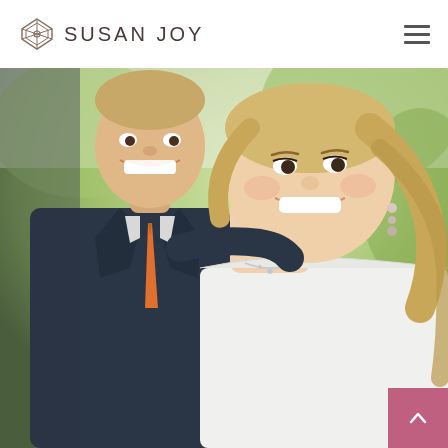SUSAN JOY
[Figure (photo): Wedding couple portrait: a groom in a dark suit with an orange tie smiling cheek-to-cheek with a bride in a white dress wearing pearl drop earrings and a diamond necklace, both smiling broadly, outdoors with green foliage in the background]